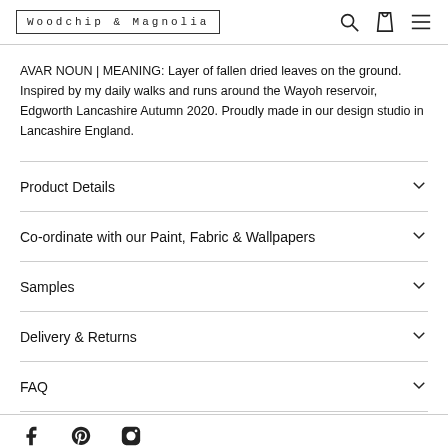Woodchip & Magnolia
AVAR NOUN | MEANING: Layer of fallen dried leaves on the ground. Inspired by my daily walks and runs around the Wayoh reservoir, Edgworth Lancashire Autumn 2020. Proudly made in our design studio in Lancashire England.
Product Details
Co-ordinate with our Paint, Fabric & Wallpapers
Samples
Delivery & Returns
FAQ